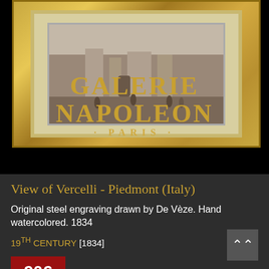[Figure (photo): Framed artwork in a gold ornate frame showing a view of Vercelli, Piedmont, Italy. The frame has gold gilding and the print is displayed on a black background with Galerie Napoleon Paris branding below.]
GALERIE NAPOLEON · PARIS ·
View of Vercelli - Piedmont (Italy)
Original steel engraving drawn by De Vèze. Hand watercolored. 1834
19TH CENTURY [1834]
90€